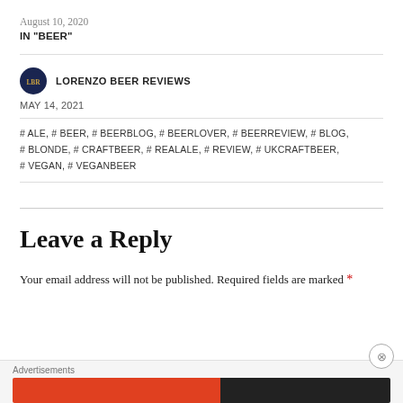August 10, 2020
IN "BEER"
LORENZO BEER REVIEWS
MAY 14, 2021
# ALE, # BEER, # BEERBLOG, # BEERLOVER, # BEERREVIEW, # BLOG, # BLONDE, # CRAFTBEER, # REALALE, # REVIEW, # UKCRAFTBEER, # VEGAN, # VEGANBEER
Leave a Reply
Your email address will not be published. Required fields are marked *
Advertisements